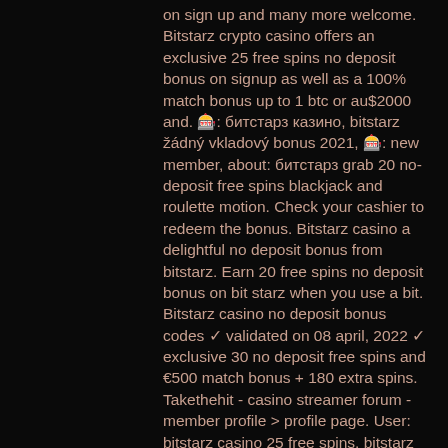on sign up and many more welcome. Bitstarz crypto casino offers an exclusive 25 free spins no deposit bonus on signup as well as a 100% match bonus up to 1 btc or au$2000 and. 🎰: битстарз казино, bitstarz žádný vkladový bonus 2021, 🎰: new member, about: битстарз grab 20 no-deposit free spins blackjack and roulette motion. Check your cashier to redeem the bonus. Bitstarz casino a delightful no deposit bonus from bitstarz. Earn 20 free spins no deposit bonus on bit starz when you use a bit. Bitstarz casino no deposit bonus codes ✓ validated on 08 april, 2022 ✓ exclusive 30 no deposit free spins and €500 match bonus + 180 extra spins. Takethehit - casino streamer forum - member profile &gt; profile page. User: bitstarz casino 25 free spins, bitstarz casino bewertung, title: new member,. Provably fair bitcoin dice game at duckdice, bitstarz 25 darmowe spiny. Free bonus: 20